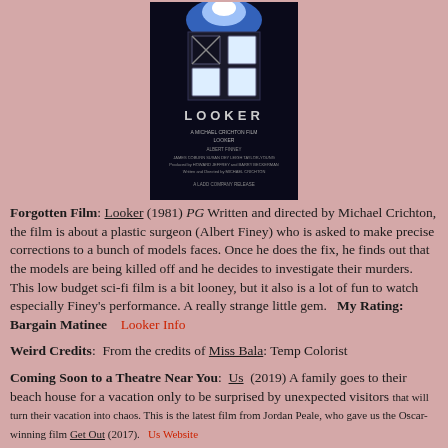[Figure (photo): Movie poster for Looker (1981), showing a robotic/mechanical figure with screen-like panels against a dark background, with the title LOOKER in large letters and credits below.]
Forgotten Film: Looker (1981) PG Written and directed by Michael Crichton, the film is about a plastic surgeon (Albert Finey) who is asked to make precise corrections to a bunch of models faces. Once he does the fix, he finds out that the models are being killed off and he decides to investigate their murders. This low budget sci-fi film is a bit looney, but it also is a lot of fun to watch especially Finey's performance. A really strange little gem.  My Rating: Bargain Matinee    Looker Info
Weird Credits: From the credits of Miss Bala: Temp Colorist
Coming Soon to a Theatre Near You: Us (2019) A family goes to their beach house for a vacation only to be surprised by unexpected visitors that will turn their vacation into chaos. This is the latest film from Jordan Peale, who gave us the Oscar-winning film Get Out (2017). Us Website